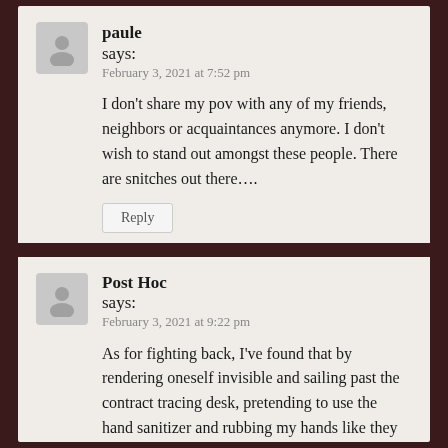paule says:
February 3, 2021 at 7:52 pm
I don't share my pov with any of my friends, neighbors or acquaintances anymore. I don't wish to stand out amongst these people. There are snitches out there….
Reply
Post Hoc says:
February 3, 2021 at 9:22 pm
As for fighting back, I've found that by rendering oneself invisible and sailing past the contract tracing desk, pretending to use the hand sanitizer and rubbing my hands like they do, then observing for like minded individuals who are also trying to be invisible, Ive generally kept under the radar alert for dangerous